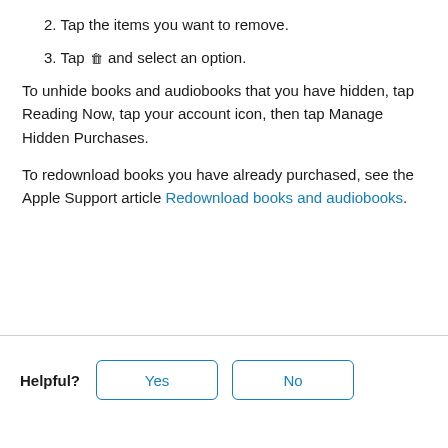2. Tap the items you want to remove.
3. Tap 🗑 and select an option.
To unhide books and audiobooks that you have hidden, tap Reading Now, tap your account icon, then tap Manage Hidden Purchases.
To redownload books you have already purchased, see the Apple Support article Redownload books and audiobooks.